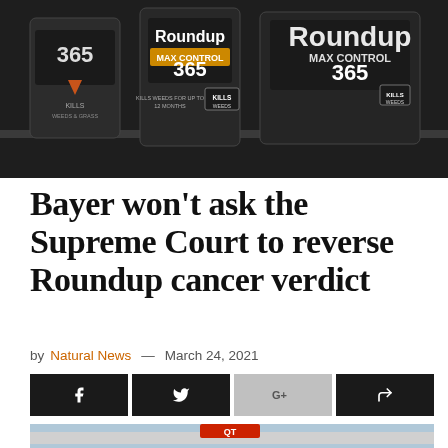[Figure (photo): Roundup Max Control 365 weed killer bottles on store shelves, dark packaging with yellow and white text]
Bayer won't ask the Supreme Court to reverse Roundup cancer verdict
by Natural News — March 24, 2021
[Figure (infographic): Social share buttons: Facebook, Twitter, Google+, and share/forward icon, dark background buttons]
[Figure (photo): QT (QuikTrip) gas station exterior with cars parked, a person visible in foreground, trees in background]